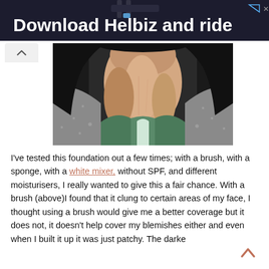[Figure (screenshot): Advertisement banner with dark background showing text 'Download Helbiz and ride' with ad icons in top right corner]
[Figure (photo): Close-up photo of a woman's neck and chin area, wearing a green top and patterned grey/white cardigan, with dark hair visible]
I've tested this foundation out a few times; with a brush, with a sponge, with a white mixer, without SPF, and different moisturisers, I really wanted to give this a fair chance. With a brush (above)I found that it clung to certain areas of my face, I thought using a brush would give me a better coverage but it does not, it doesn't help cover my blemishes either and even when I built it up it was just patchy. The darker